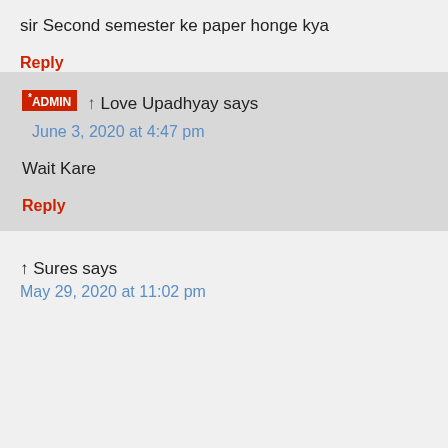sir Second semester ke paper honge kya
Reply
ADMIN
↑ Love Upadhyay says
June 3, 2020 at 4:47 pm
Wait Kare
Reply
↑ Sures says
May 29, 2020 at 11:02 pm